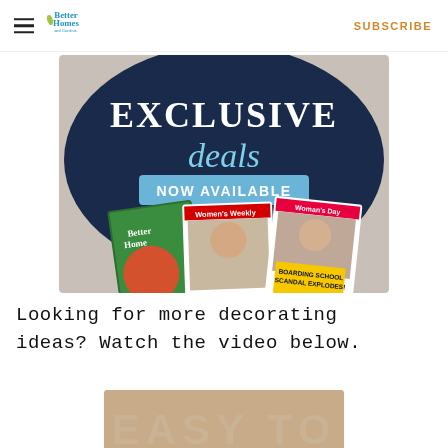Better Homes and Gardens — SUBSCRIBE
[Figure (illustration): Advertisement banner showing 'EXCLUSIVE deals NOW AVAILABLE' with magazine covers for Better Homes and Gardens, Women's Weekly, and Woman's Day placed on a dark navy background.]
Looking for more decorating ideas? Watch the video below.
[Figure (screenshot): Partially visible video thumbnail showing wooden text letters spelling EASY TO on a tan/wood background.]